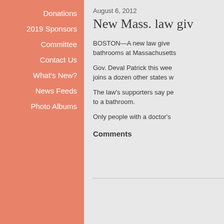Donations
2019 Sponsors
Committee
Contact Us
What's New?
News Feeds
Photo Albums
August 6, 2012
New Mass. law giv
BOSTON—A new law give bathrooms at Massachusetts
Gov. Deval Patrick this wee joins a dozen other states w
The law's supporters say pe to a bathroom.
Only people with a doctor's
Comments